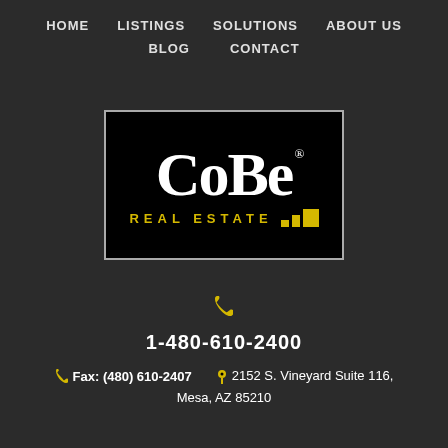HOME   LISTINGS   SOLUTIONS   ABOUT US   BLOG   CONTACT
[Figure (logo): CoBe Real Estate logo — black rectangle with grey border, large white serif 'CoBe' text with registered trademark, yellow 'REAL ESTATE' text and yellow building-bar icon]
1-480-610-2400
Fax: (480) 610-2407     2152 S. Vineyard Suite 116, Mesa, AZ 85210